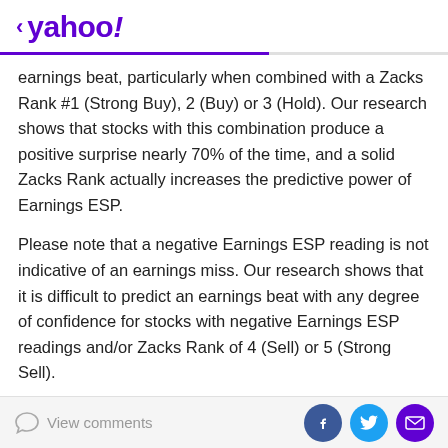< yahoo!
earnings beat, particularly when combined with a Zacks Rank #1 (Strong Buy), 2 (Buy) or 3 (Hold). Our research shows that stocks with this combination produce a positive surprise nearly 70% of the time, and a solid Zacks Rank actually increases the predictive power of Earnings ESP.
Please note that a negative Earnings ESP reading is not indicative of an earnings miss. Our research shows that it is difficult to predict an earnings beat with any degree of confidence for stocks with negative Earnings ESP readings and/or Zacks Rank of 4 (Sell) or 5 (Strong Sell).
How Have the Numbers Shaped Up for Natus
View comments